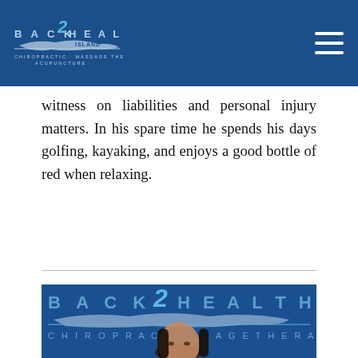Back 2 Health Long Island — Chiropractic · Massage Therapy · Acupuncture
witness on liabilities and personal injury matters. In his spare time he spends his days golfing, kayaking, and enjoys a good bottle of red when relaxing.
[Figure (photo): Professional headshot of a woman with dark hair in front of a blue Back 2 Health Long Island branded backdrop showing Chiropractic, Massage Therapy, Acupuncture text and logo]